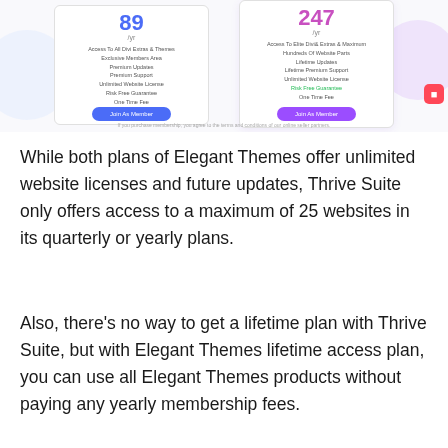[Figure (screenshot): Screenshot of a pricing comparison between two plans, showing prices of 89 (blue) and 247 (pink/purple) with feature lists and CTA buttons. Decorative circles and an orange icon are visible.]
If you purchase membership, you agree to the terms and conditions of our online seller partners.
While both plans of Elegant Themes offer unlimited website licenses and future updates, Thrive Suite only offers access to a maximum of 25 websites in its quarterly or yearly plans.
Also, there’s no way to get a lifetime plan with Thrive Suite, but with Elegant Themes lifetime access plan, you can use all Elegant Themes products without paying any yearly membership fees.